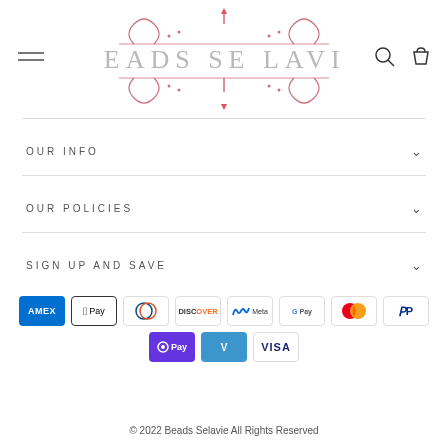[Figure (logo): Beads Se Lavie ornate logo with decorative flourishes and text]
OUR INFO
OUR POLICIES
SIGN UP AND SAVE
[Figure (infographic): Payment method icons: American Express, Apple Pay, Diners Club, Discover, Meta Pay, Google Pay, Mastercard, PayPal, OPay, Venmo, Visa]
© 2022 Beads Selavie All Rights Reserved